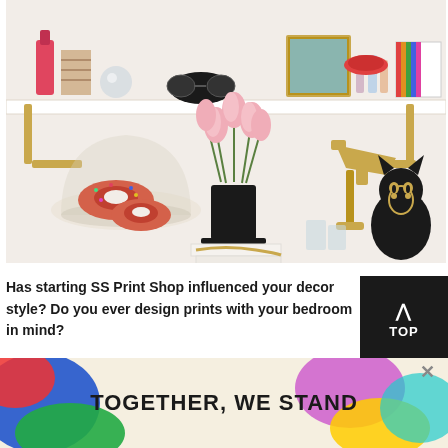[Figure (photo): A styled shelf/desk scene showing pink tulips in a black vase on white books with gold chain, donuts under a glass cloche, a gold lamp, cosmetics and accessories on a white shelf above, and a decorative black and gold cat figurine.]
Has starting SS Print Shop influenced your decor style? Do you ever design prints with your bedroom in mind?
When Tiffany decided to... (body text partially obscured by ad banner)
[Figure (infographic): Advertisement banner reading 'TOGETHER, WE STAND' with colorful abstract blobs on left and right sides against a cream background.]